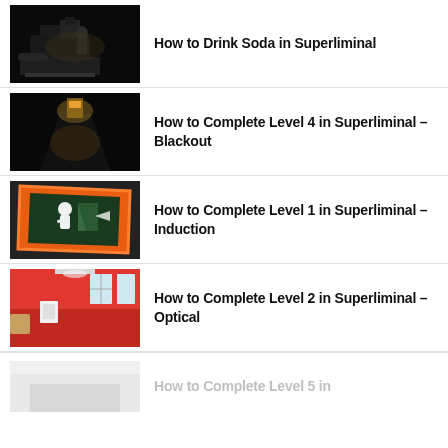How to Drink Soda in Superliminal
How to Complete Level 4 in Superliminal – Blackout
How to Complete Level 1 in Superliminal – Induction
How to Complete Level 2 in Superliminal – Optical
How to Complete Level 5 in